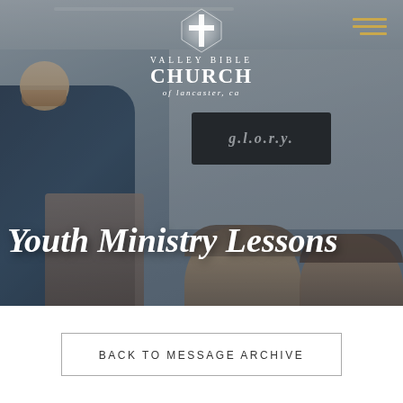[Figure (photo): Hero banner photo showing a bearded man in a blue plaid shirt speaking at a podium inside a church room. A dark sign reading 'G.L.O.R.Y.' hangs in the background. Audience members are visible in the foreground with heads/backs visible. The Valley Bible Church logo (cross icon + text) overlays the top-center. A hamburger menu icon in gold/tan appears top-right. The large italic bold text 'Youth Ministry Lessons' overlays the lower portion of the image in white.]
Youth Ministry Lessons
VALLEY BIBLE CHURCH of lancaster, ca
BACK TO MESSAGE ARCHIVE